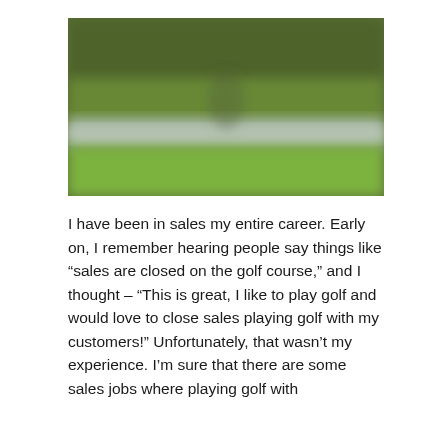[Figure (photo): A blurred outdoor golf course scene showing green fairway grass in the foreground, a reflective water hazard or pond in the middle, and trees in the background. The image is blurred/out-of-focus.]
I have been in sales my entire career. Early on, I remember hearing people say things like “sales are closed on the golf course,” and I thought – “This is great, I like to play golf and would love to close sales playing golf with my customers!” Unfortunately, that wasn’t my experience. I’m sure that there are some sales jobs where playing golf with